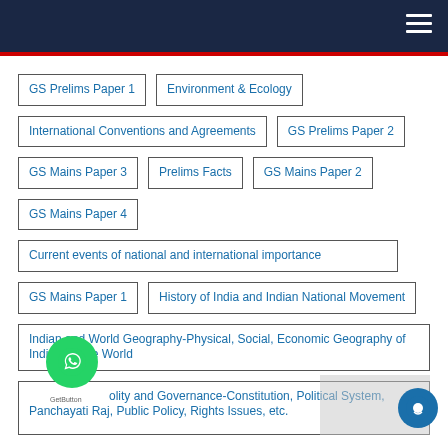GS Prelims Paper 1
Environment & Ecology
International Conventions and Agreements
GS Prelims Paper 2
GS Mains Paper 3
Prelims Facts
GS Mains Paper 2
GS Mains Paper 4
Current events of national and international importance
GS Mains Paper 1
History of India and Indian National Movement
Indian and World Geography-Physical, Social, Economic Geography of India and the World
Polity and Governance-Constitution, Political System, Panchayati Raj, Public Policy, Rights Issues, etc.